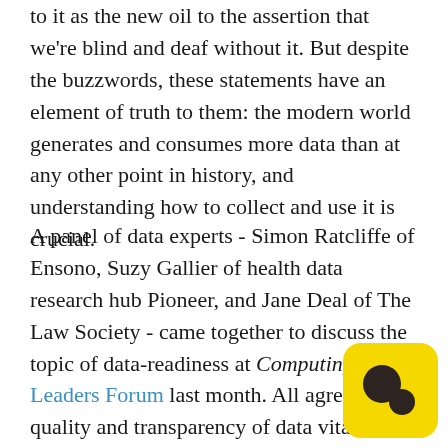to it as the new oil to the assertion that we're blind and deaf without it. But despite the buzzwords, these statements have an element of truth to them: the modern world generates and consumes more data than at any other point in history, and understanding how to collect and use it is crucial.
A panel of data experts - Simon Ratcliffe of Ensono, Suzy Gallier of health data research hub Pioneer, and Jane Deal of The Law Society - came together to discuss the topic of data-readiness at Computing's IT Leaders Forum last month. All agreed that quality and transparency of data vital, but understanding data is even more s
[Figure (logo): Yellow rounded square logo with two dark brown/black circular dot shapes inside, resembling a stylized face or brand mark.]